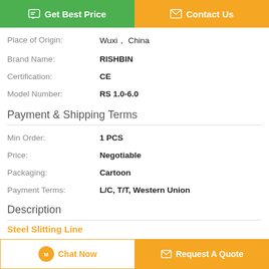[Figure (other): Two buttons: green 'Get Best Price' and orange 'Contact Us']
| Place of Origin: | Wuxi， China |
| Brand Name: | RISHBIN |
| Certification: | CE |
| Model Number: | RS 1.0-6.0 |
Payment & Shipping Terms
| Min Order: | 1 PCS |
| Price: | Negotiable |
| Packaging: | Cartoon |
| Payment Terms: | L/C, T/T, Western Union |
Description
Steel Slitting Line
[Figure (other): Two bottom buttons: 'Chat Now' and 'Request A Quote']